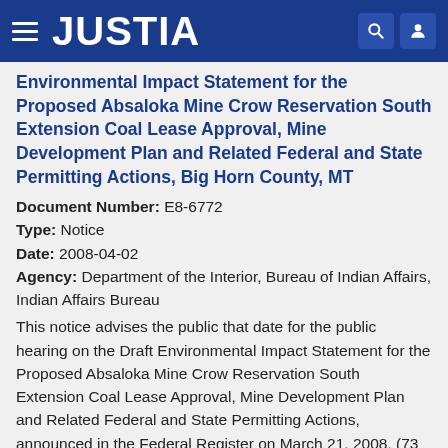JUSTIA
Environmental Impact Statement for the Proposed Absaloka Mine Crow Reservation South Extension Coal Lease Approval, Mine Development Plan and Related Federal and State Permitting Actions, Big Horn County, MT
Document Number: E8-6772
Type: Notice
Date: 2008-04-02
Agency: Department of the Interior, Bureau of Indian Affairs, Indian Affairs Bureau
This notice advises the public that date for the public hearing on the Draft Environmental Impact Statement for the Proposed Absaloka Mine Crow Reservation South Extension Coal Lease Approval, Mine Development Plan and Related Federal and State Permitting Actions, announced in the Federal Register on March 21, 2008, (73 FR 15189) was incorrect. The correct date for the